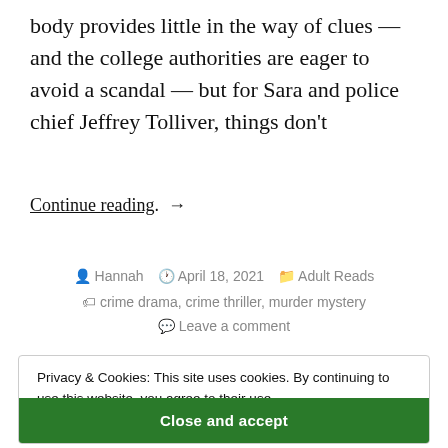body provides little in the way of clues — and the college authorities are eager to avoid a scandal — but for Sara and police chief Jeffrey Tolliver, things don't
Continue reading. →
Hannah  April 18, 2021  Adult Reads  crime drama, crime thriller, murder mystery  Leave a comment
Privacy & Cookies: This site uses cookies. By continuing to use this website, you agree to their use. To find out more, including how to control cookies, see here: Cookie Policy
Close and accept